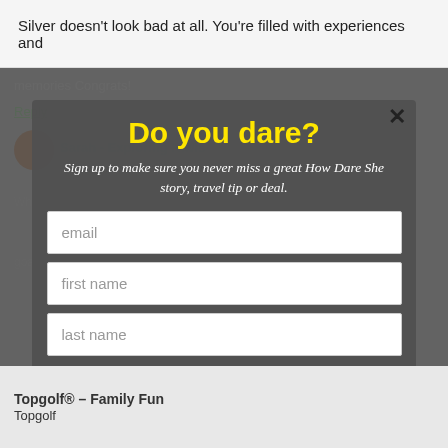Silver doesn't look bad at all. You're filled with experiences and
memories Congrats!
Reply
Do you dare?
Sign up to make sure you never miss a great How Dare She story, travel tip or deal.
email
first name
last name
let's do it!
powered by MailMunch